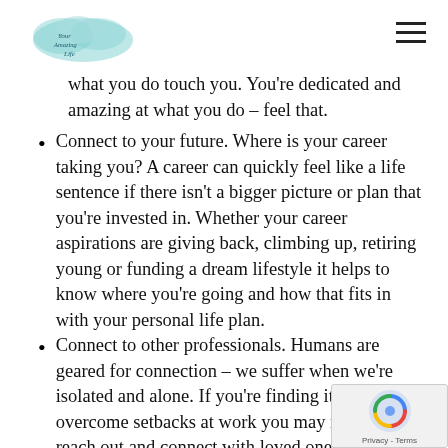[Logo: Your Amazing Life] [Hamburger menu icon]
what you do touch you.  You're dedicated and amazing at what you do – feel that.
Connect to your future.  Where is your career taking you?  A career can quickly feel like a life sentence if there isn't a bigger picture or plan that you're invested in.  Whether your career aspirations are giving back, climbing up, retiring young or funding a dream lifestyle it helps to know where you're going and how that fits in with your personal life plan.
Connect to other professionals.  Humans are geared for connection – we suffer when we're isolated and alone.  If you're finding it hard to overcome setbacks at work you may need to reach out and connect with loved ones, or